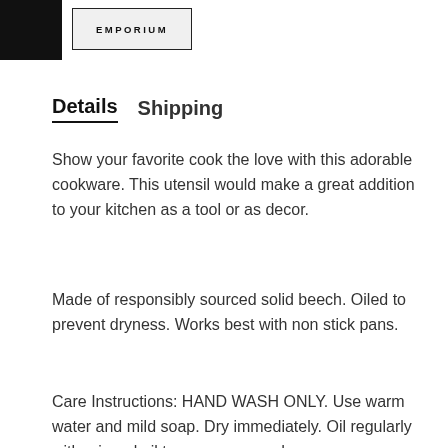EMPORIUM
Details   Shipping
Show your favorite cook the love with this adorable cookware. This utensil would make a great addition to your kitchen as a tool or as decor.
Made of responsibly sourced solid beech. Oiled to prevent dryness. Works best with non stick pans.
Care Instructions: HAND WASH ONLY. Use warm water and mild soap. Dry immediately. Oil regularly with mineral oil to preserve wood